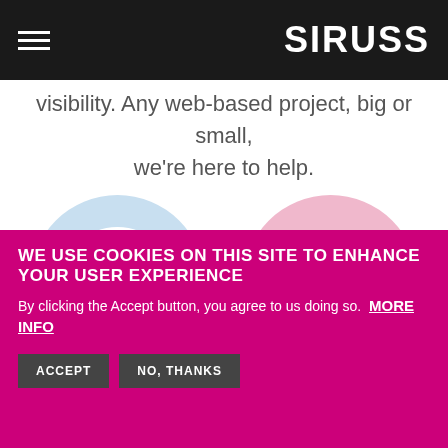SIRUSS
visibility. Any web-based project, big or small, we're here to help.
[Figure (illustration): Blue circle with white gear/refresh icon (settings with circular arrows)]
[Figure (illustration): Pink circle with white magnifying glass/search icon]
WE USE COOKIES ON THIS SITE TO ENHANCE YOUR USER EXPERIENCE
By clicking the Accept button, you agree to us doing so. MORE INFO
ACCEPT   NO, THANKS